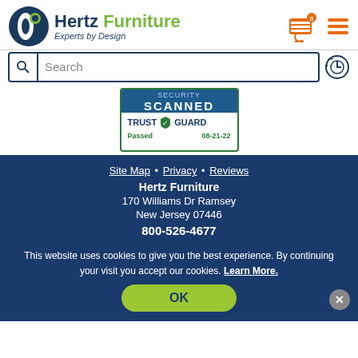[Figure (logo): Hertz Furniture logo with circular icon, 'Hertz Furniture' brand name, and 'Experts by Design' tagline]
[Figure (screenshot): Shopping cart icon with orange badge showing '0', and hamburger menu icon in orange]
[Figure (screenshot): Search bar with magnifying glass icon and text 'Search', plus history icon]
[Figure (screenshot): Trust Guard security scanned badge showing 'SECURITY SCANNED' and 'TRUST GUARD Passed 08-21-22']
Site Map • Privacy • Reviews
Hertz Furniture
170 Williams Dr Ramsey
New Jersey 07446
800-526-4677
This website uses cookies to give you the best experience. By continuing your visit you accept our cookies. Learn More.
OK